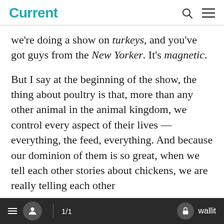Current
we're doing a show on turkeys, and you've got guys from the New Yorker. It's magnetic.
But I say at the beginning of the show, the thing about poultry is that, more than any other animal in the animal kingdom, we control every aspect of their lives — everything, the feed, everything. And because our dominion of them is so great, when we tell each other stories about chickens, we are really telling each other
1/1   wallit